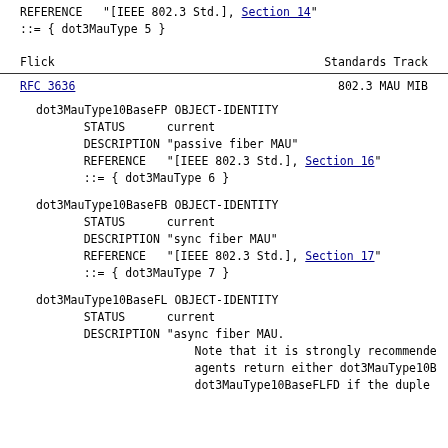REFERENCE "[IEEE 802.3 Std.], Section 14"
::= { dot3MauType 5 }
Flick                          Standards Track
RFC 3636                         802.3 MAU MIB
dot3MauType10BaseFP OBJECT-IDENTITY
    STATUS       current
    DESCRIPTION "passive fiber MAU"
    REFERENCE   "[IEEE 802.3 Std.], Section 16"
    ::= { dot3MauType 6 }
dot3MauType10BaseFB OBJECT-IDENTITY
    STATUS       current
    DESCRIPTION "sync fiber MAU"
    REFERENCE   "[IEEE 802.3 Std.], Section 17"
    ::= { dot3MauType 7 }
dot3MauType10BaseFL OBJECT-IDENTITY
    STATUS       current
    DESCRIPTION "async fiber MAU.
    Note that it is strongly recommend
    agents return either dot3MauType10
    dot3MauType10BaseFLFD if the duple